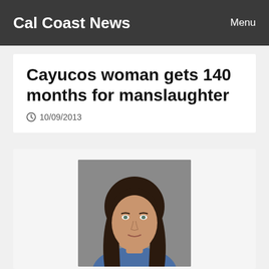Cal Coast News | Menu
Cayucos woman gets 140 months for manslaughter
10/09/2013
[Figure (photo): Mugshot of Jessica Whitney Goddard, a woman with long dark brown hair wearing a blue top, against a grey background.]
Jessica Whitney Goddard
A Cayucos woman who ran down two cyclists in September killing one and seriously injuring the other was